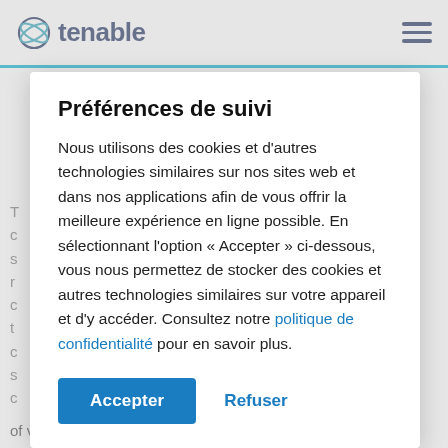[Figure (logo): Tenable logo — circular abstract icon in teal/dark blue plus wordmark 'tenable' in dark navy]
Préférences de suivi
Nous utilisons des cookies et d'autres technologies similaires sur nos sites web et dans nos applications afin de vous offrir la meilleure expérience en ligne possible. En sélectionnant l'option « Accepter » ci-dessous, vous nous permettez de stocker des cookies et autres technologies similaires sur votre appareil et d'y accéder. Consultez notre politique de confidentialité pour en savoir plus.
Accepter   Refuser
of vulnerabilities on transient and isolated devices. Passive